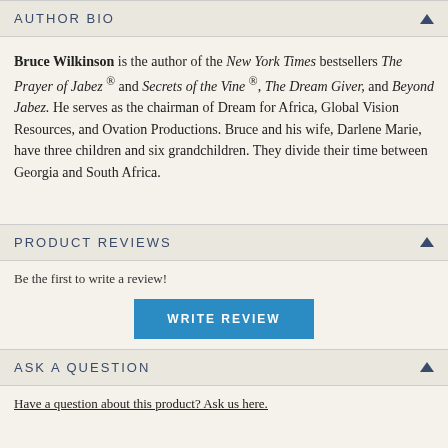AUTHOR BIO
Bruce Wilkinson is the author of the New York Times bestsellers The Prayer of Jabez ® and Secrets of the Vine ®, The Dream Giver, and Beyond Jabez. He serves as the chairman of Dream for Africa, Global Vision Resources, and Ovation Productions. Bruce and his wife, Darlene Marie, have three children and six grandchildren. They divide their time between Georgia and South Africa.
PRODUCT REVIEWS
Be the first to write a review!
WRITE REVIEW
ASK A QUESTION
Have a question about this product? Ask us here.